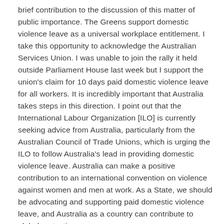brief contribution to the discussion of this matter of public importance. The Greens support domestic violence leave as a universal workplace entitlement. I take this opportunity to acknowledge the Australian Services Union. I was unable to join the rally it held outside Parliament House last week but I support the union's claim for 10 days paid domestic violence leave for all workers. It is incredibly important that Australia takes steps in this direction. I point out that the International Labour Organization [ILO] is currently seeking advice from Australia, particularly from the Australian Council of Trade Unions, which is urging the ILO to follow Australia's lead in providing domestic violence leave. Australia can make a positive contribution to an international convention on violence against women and men at work. As a State, we should be advocating and supporting paid domestic violence leave, and Australia as a country can contribute to global protections.
Domestic violence leave is a provision that recognises the spread of domestic violence within our community. It is the responsibility of our workplaces, our governments and our